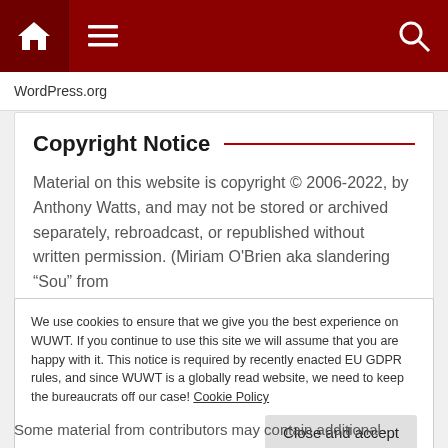[Figure (screenshot): Website navigation bar with dark red background, home icon on left, hamburger menu, and search icon on right]
WordPress.org
Copyright Notice
Material on this website is copyright © 2006-2022, by Anthony Watts, and may not be stored or archived separately, rebroadcast, or republished without written permission. (Miriam O'Brien aka slandering “Sou” from
We use cookies to ensure that we give you the best experience on WUWT. If you continue to use this site we will assume that you are happy with it. This notice is required by recently enacted EU GDPR rules, and since WUWT is a globally read website, we need to keep the bureaucrats off our case! Cookie Policy
Some material from contributors may contain additional